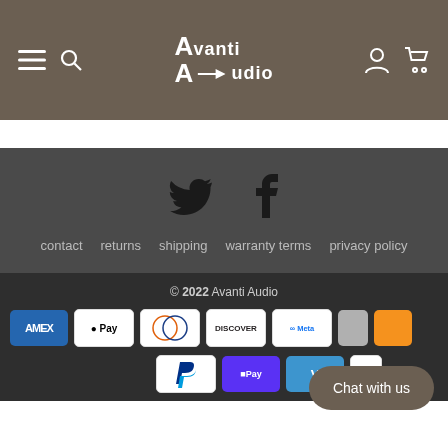Avanti Audio - navigation header with hamburger menu, search, logo, user icon, cart icon
[Figure (logo): Avanti Audio logo with two stylized A letters and arrow]
[Figure (infographic): Twitter and Facebook social media icons]
contact   returns   shipping   warranty terms   privacy policy
© 2022 Avanti Audio
[Figure (infographic): Payment method icons: AMEX, Apple Pay, Diners Club, Discover, Meta Pay, and partial cards, then PayPal, Shop Pay, Venmo]
Chat with us